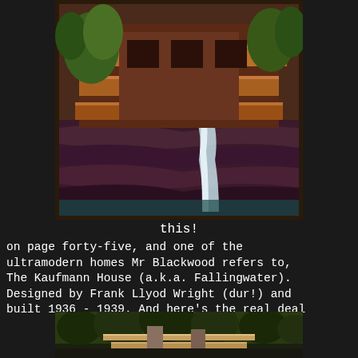[Figure (illustration): Artistic/painted illustration of Fallingwater (Kaufmann House) showing the cantilevered terraces over a waterfall, with trees and rocky landscape, warm brown tones with green foliage and white cascading water.]
this!
on page forty-five, and one of the ultramodern homes Mr Blackwood refers to, The Kaufmann House (a.k.a. Fallingwater). Designed by Frank Llyod Wright (dur!) and built 1936 - 1939. And here's the real deal
[Figure (photo): Photograph of Fallingwater (Kaufmann House) showing the actual building with cantilevered terraces surrounded by trees and lush green forest.]